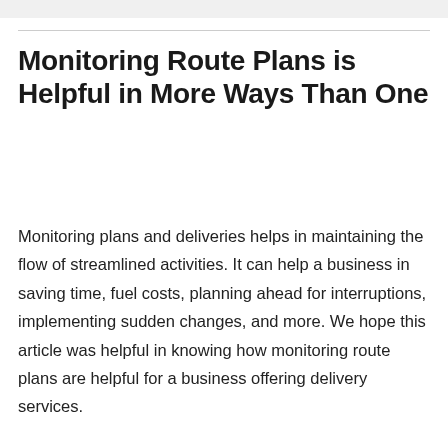Monitoring Route Plans is Helpful in More Ways Than One
Monitoring plans and deliveries helps in maintaining the flow of streamlined activities. It can help a business in saving time, fuel costs, planning ahead for interruptions, implementing sudden changes, and more. We hope this article was helpful in knowing how monitoring route plans are helpful for a business offering delivery services.